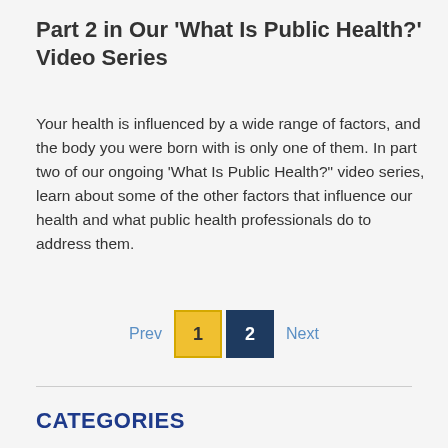Part 2 in Our 'What Is Public Health?' Video Series
Your health is influenced by a wide range of factors, and the body you were born with is only one of them. In part two of our ongoing 'What Is Public Health?' video series, learn about some of the other factors that influence our health and what public health professionals do to address them.
CATEGORIES